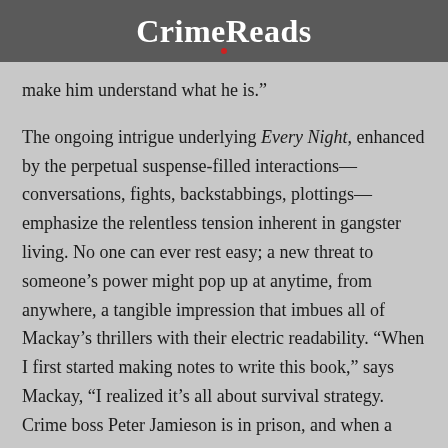CrimeReads
make him understand what he is.”
The ongoing intrigue underlying Every Night, enhanced by the perpetual suspense-filled interactions—conversations, fights, backstabbings, plottings—emphasize the relentless tension inherent in gangster living. No one can ever rest easy; a new threat to someone’s power might pop up at anytime, from anywhere, a tangible impression that imbues all of Mackay’s thrillers with their electric readability. “When I first started making notes to write this book,” says Mackay, “I realized it’s all about survival strategy. Crime boss Peter Jamieson is in prison, and when a